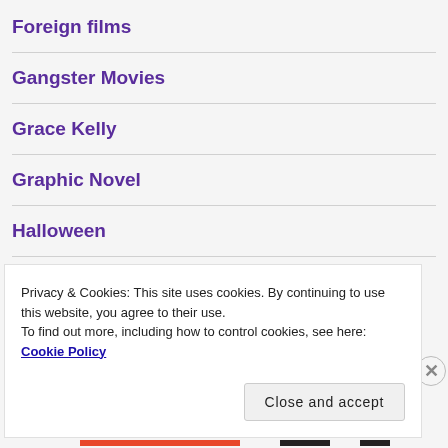Foreign films
Gangster Movies
Grace Kelly
Graphic Novel
Halloween
Hammer
Privacy & Cookies: This site uses cookies. By continuing to use this website, you agree to their use.
To find out more, including how to control cookies, see here: Cookie Policy
Close and accept